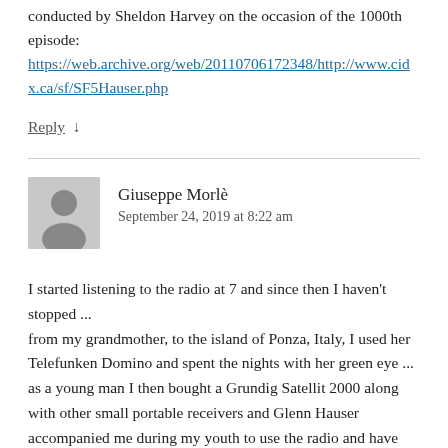conducted by Sheldon Harvey on the occasion of the 1000th episode:
https://web.archive.org/web/20110706172348/http://www.cidx.ca/sf/SF5Hauser.php
Reply ↓
Giuseppe Morlè
September 24, 2019 at 8:22 am
I started listening to the radio at 7 and since then I haven't stopped ...
from my grandmother, to the island of Ponza, Italy, I used her Telefunken Domino and spent the nights with her green eye ... as a young man I then bought a Grundig Satellit 2000 along with other small portable receivers and Glenn Hauser accompanied me during my youth to use the radio and have